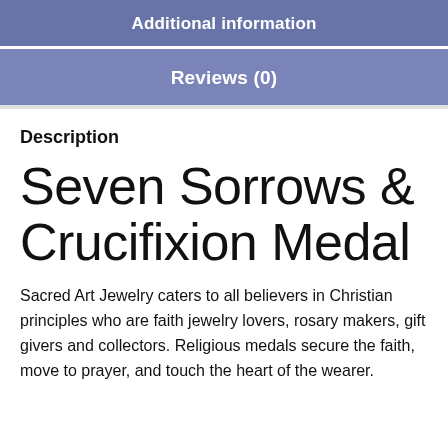Additional information
Reviews (0)
Description
Seven Sorrows & Crucifixion Medal
Sacred Art Jewelry caters to all believers in Christian principles who are faith jewelry lovers, rosary makers, gift givers and collectors. Religious medals secure the faith, move to prayer, and touch the heart of the wearer.